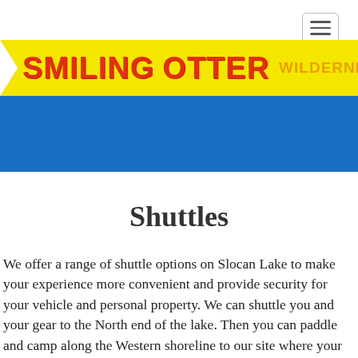Smiling Otter Wilderness Adventures (navigation header with hamburger menu)
[Figure (logo): Smiling Otter Wilderness Adventures logo banner on yellow background with red text]
[Figure (other): Blue decorative band below logo]
Shuttles
We offer a range of shuttle options on Slocan Lake to make your experience more convenient and provide security for your vehicle and personal property.  We can shuttle you and your gear to the North end of the lake.  Then you can paddle and camp along the Western shoreline to our site where your vehicle will be waiting for you. This